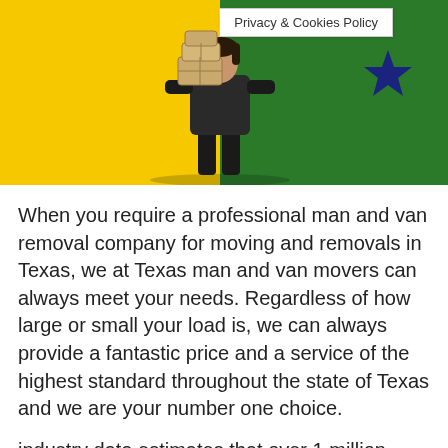[Figure (photo): Photo of a person carrying moving boxes, set against a yellow and green background with a dark blue star on the right side. A 'Privacy & Cookies Policy' tooltip/popup overlay is visible in the upper right area of the image.]
When you require a professional man and van removal company for moving and removals in Texas, we at Texas man and van movers can always meet your needs. Regardless of how large or small your load is, we can always provide a fantastic price and a service of the highest standard throughout the state of Texas and we are your number one choice.
industry data estimates that over 1 million Americans rent a cheap moving truck to relocate across state lines and many more rent trucks for in-town moves. Pros: more affordable than movers: in some circumstances, renting a moving truck is cheaper than hiring a professional Texas man and van movers. Cons: you have to do a lot of the heavy...